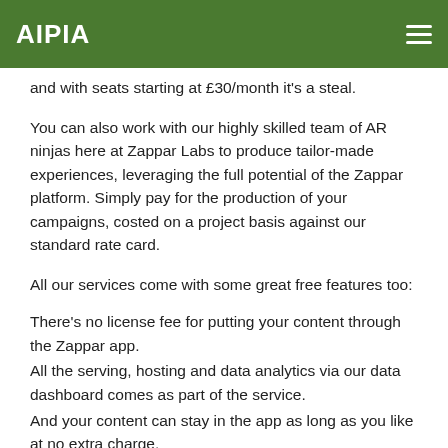AIPIA
and with seats starting at £30/month it's a steal.
You can also work with our highly skilled team of AR ninjas here at Zappar Labs to produce tailor-made experiences, leveraging the full potential of the Zappar platform. Simply pay for the production of your campaigns, costed on a project basis against our standard rate card.
All our services come with some great free features too:
There's no license fee for putting your content through the Zappar app.
All the serving, hosting and data analytics via our data dashboard comes as part of the service.
And your content can stay in the app as long as you like at no extra charge.
As if that wasn't enough, as a business you can also embed